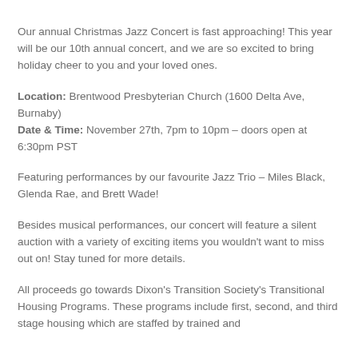Our annual Christmas Jazz Concert is fast approaching! This year will be our 10th annual concert, and we are so excited to bring holiday cheer to you and your loved ones.
Location: Brentwood Presbyterian Church (1600 Delta Ave, Burnaby)
Date & Time: November 27th, 7pm to 10pm – doors open at 6:30pm PST
Featuring performances by our favourite Jazz Trio – Miles Black, Glenda Rae, and Brett Wade!
Besides musical performances, our concert will feature a silent auction with a variety of exciting items you wouldn't want to miss out on! Stay tuned for more details.
All proceeds go towards Dixon's Transition Society's Transitional Housing Programs. These programs include first, second, and third stage housing which are staffed by trained and